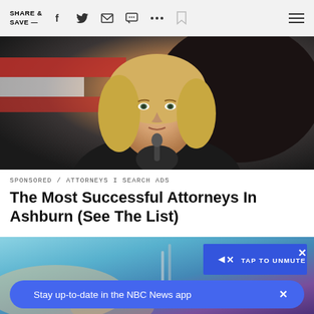SHARE & SAVE —
[Figure (photo): A blonde woman in a black jacket sits in a courtroom or official setting, hands clasped near her chin, with an American flag blurred in the background and a dark leather chair behind her.]
SPONSORED / ATTORNEYS I SEARCH ADS
The Most Successful Attorneys In Ashburn (See The List)
[Figure (screenshot): Bottom portion of a video player showing a blurred scene with a blue 'TAP TO UNMUTE' button overlay and a close X button in the top right corner.]
Stay up-to-date in the NBC News app